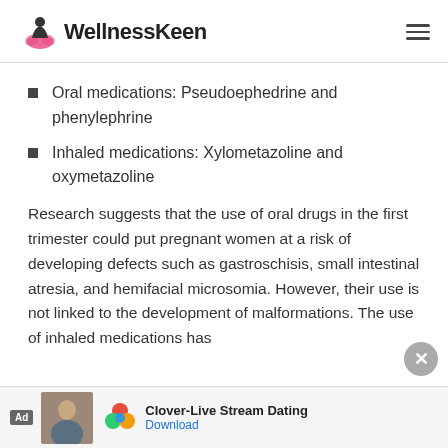WellnessKeen
Oral medications: Pseudoephedrine and phenylephrine
Inhaled medications: Xylometazoline and oxymetazoline
Research suggests that the use of oral drugs in the first trimester could put pregnant women at a risk of developing defects such as gastroschisis, small intestinal atresia, and hemifacial microsomia. However, their use is not linked to the development of malformations. The use of inhaled medications has
[Figure (screenshot): Mobile advertisement bar at the bottom: Ad label, photo of woman, Clover logo, 'Clover-Live Stream Dating', Download link]